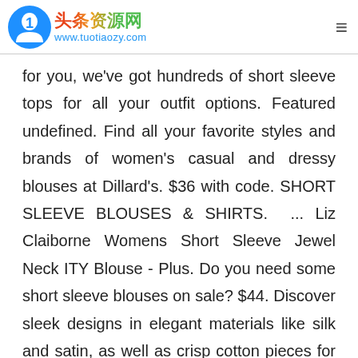头条资源网 www.tuotiaozy.com
for you, we've got hundreds of short sleeve tops for all your outfit options. Featured undefined. Find all your favorite styles and brands of women's casual and dressy blouses at Dillard's. $36 with code. SHORT SLEEVE BLOUSES & SHIRTS. ... Liz Claiborne Womens Short Sleeve Jewel Neck ITY Blouse - Plus. Do you need some short sleeve blouses on sale? $44. Discover sleek designs in elegant materials like silk and satin, as well as crisp cotton pieces for a more formal look. ... Alfred Dunner Classics Womens Short Sleeve Blouse. Shop women's short sleeve tops shirts at TJMaxx.com. Refresh your look with beautiful blouses and stylish shirts. Women's Shirts & Blouses.